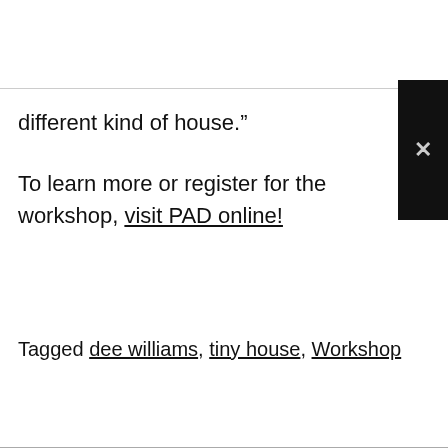different kind of house.”
To learn more or register for the workshop, visit PAD online!
Tagged dee williams, tiny house, Workshop